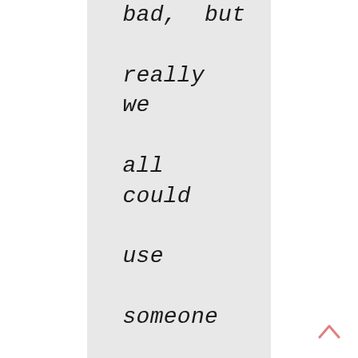bad, but really we all could use someone to talk to."
--Wai Chim, The Surprising Power of a Good Dumpling